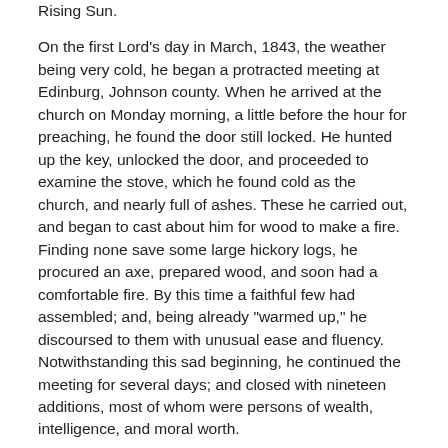Rising Sun.
On the first Lord's day in March, 1843, the weather being very cold, he began a protracted meeting at Edinburg, Johnson county. When he arrived at the church on Monday morning, a little before the hour for preaching, he found the door still locked. He hunted up the key, unlocked the door, and proceeded to examine the stove, which he found cold as the church, and nearly full of ashes. These he carried out, and began to cast about him for wood to make a fire. Finding none save some large hickory logs, he procured an axe, prepared wood, and soon had a comfortable fire. By this time a faithful few had assembled; and, being already "warmed up," he discoursed to them with unusual ease and fluency. Notwithstanding this sad beginning, he continued the meeting for several days; and closed with nineteen additions, most of whom were persons of wealth, intelligence, and moral worth.
In September, 1846, he held a meeting at Williamsburg, Johnson county. When he began, a certain brother observed that he would not be afraid to promise him a hundred dollars for every one he would immerse, there being much sickness in the neighborhood, and also a great sale of personal property,